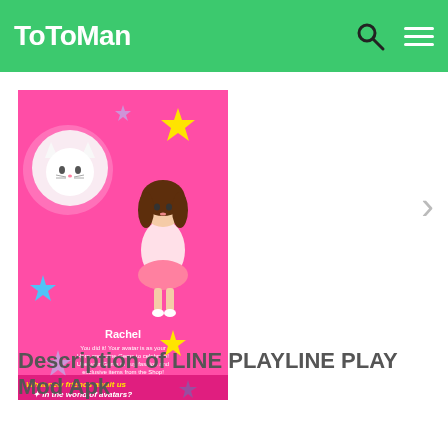ToToMan
[Figure (screenshot): App screenshot showing LINE PLAY avatar game screen with a character named Rachel and text 'What new friends await us in the world of avatars?' on a pink background with stars and a cat]
Description of LINE PLAYLINE PLAY Mod Apk